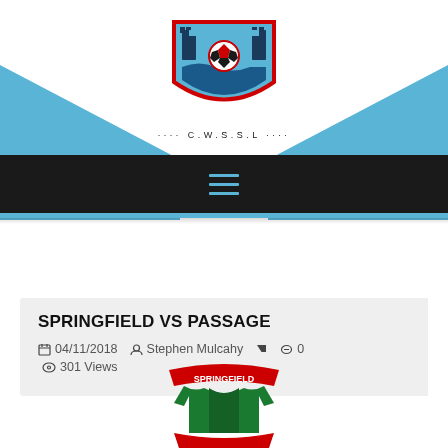[Figure (logo): CWSSL shield logo with soccer ball, castle towers, blue and red colors. Text below reads '.... C.W.S.S.L ....']
[Figure (other): Black navigation bar with hamburger menu icon in blue]
SPRINGFIELD VS PASSAGE
04/11/2018  Stephen Mulcahy  0  301 Views
[Figure (logo): Springfield FC club logo, green jersey with red banner reading SPRINGFIELD]